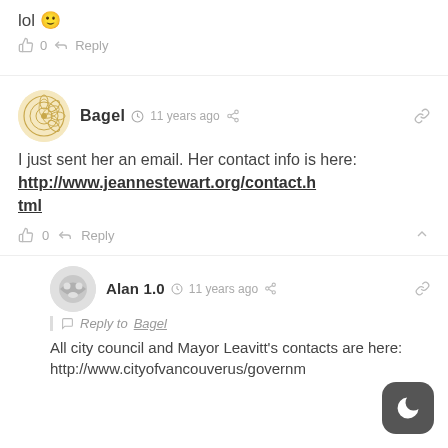lol 🙂
👍 0  Reply
[Figure (illustration): User avatar for Bagel — circular golden geometric/mandala pattern on cream background]
Bagel  🕐 11 years ago  share  🔗
I just sent her an email. Her contact info is here:
http://www.jeannestewart.org/contact.html
👍 0  Reply  ▲
[Figure (illustration): User avatar for Alan 1.0 — circular gray icon with stylized face/mask shape]
Alan 1.0  🕐 11 years ago  share  🔗
Reply to Bagel
All city council and Mayor Leavitt's contacts are here:
http://www.cityofvancouverus/governm
[Figure (illustration): Dark mode toggle button — rounded square dark gray button with crescent moon icon]